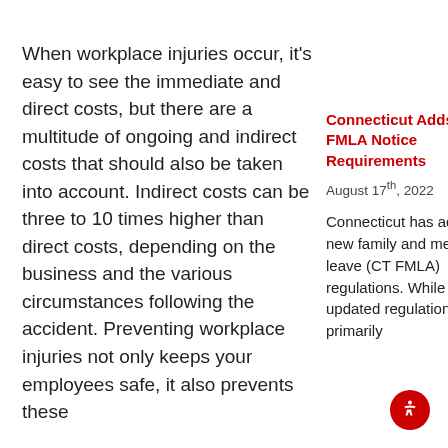When workplace injuries occur, it's easy to see the immediate and direct costs, but there are a multitude of ongoing and indirect costs that should also be taken into account. Indirect costs can be three to 10 times higher than direct costs, depending on the business and the various circumstances following the accident. Preventing workplace injuries not only keeps your employees safe, it also prevents these
Connecticut Adds CT FMLA Notice Requirements
August 17th, 2022
Connecticut has adopted new family and medical leave (CT FMLA) regulations. While the updated regulations primarily
[Figure (illustration): Red circular accessibility icon button with a white person/accessibility symbol inside]